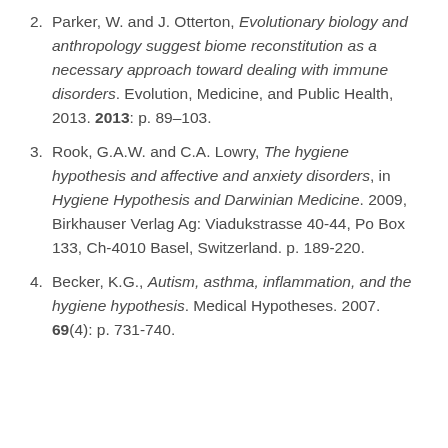2. Parker, W. and J. Otterton, Evolutionary biology and anthropology suggest biome reconstitution as a necessary approach toward dealing with immune disorders. Evolution, Medicine, and Public Health, 2013. 2013: p. 89–103.
3. Rook, G.A.W. and C.A. Lowry, The hygiene hypothesis and affective and anxiety disorders, in Hygiene Hypothesis and Darwinian Medicine. 2009, Birkhauser Verlag Ag: Viadukstrasse 40-44, Po Box 133, Ch-4010 Basel, Switzerland. p. 189-220.
4. Becker, K.G., Autism, asthma, inflammation, and the hygiene hypothesis. Medical Hypotheses. 2007. 69(4): p. 731-740.